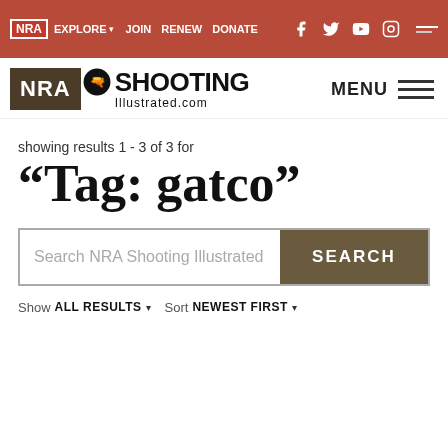NRA EXPLORE ▾  JOIN  RENEW  DONATE  [social icons]  MENU ≡
[Figure (logo): NRA Shooting Illustrated logo with rifle icon and MENU hamburger icon]
showing results 1 - 3 of 3 for
“Tag: gatco”
Search NRA Shooting Illustrated
SEARCH
Show ALL RESULTS ▾   Sort NEWEST FIRST ▾